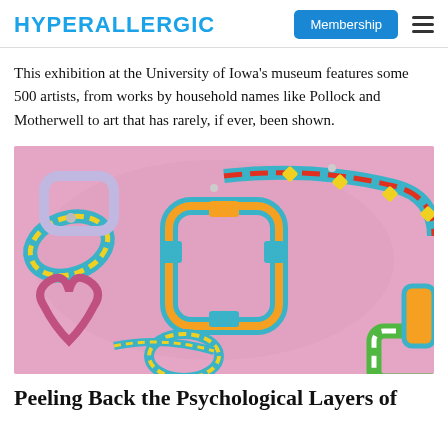HYPERALLERGIC | Membership
This exhibition at the University of Iowa's museum features some 500 artists, from works by household names like Pollock and Motherwell to art that has rarely, if ever, been shown.
[Figure (photo): Colorful sculptural artwork with looping rings and chains on a pink wall, featuring teal, orange, yellow, red and green segments.]
Peeling Back the Psychological Layers of